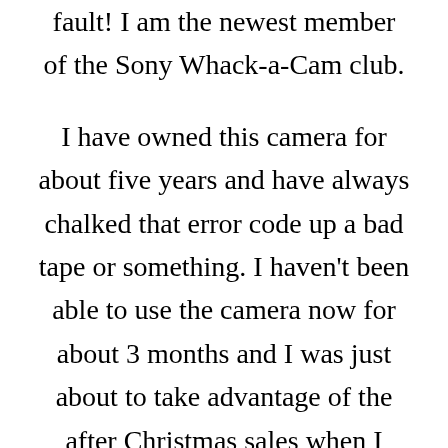fault! I am the newest member of the Sony Whack-a-Cam club.

I have owned this camera for about five years and have always chalked that error code up a bad tape or something. I haven't been able to use the camera now for about 3 months and I was just about to take advantage of the after Christmas sales when I read this post. I just saved a lot of money and I get to take out a little frustration in the process. I would like to try to make a game out of this. Kind of like